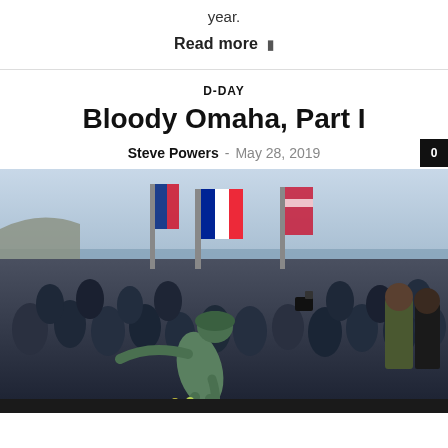year.
Read more ▸
D-DAY
Bloody Omaha, Part I
Steve Powers  -  May 28, 2019  [0 comments]
[Figure (photo): Crowd of people gathered around a green bronze soldier statue at Omaha Beach, Normandy, with French and other flags visible in the background and the sea on the horizon.]